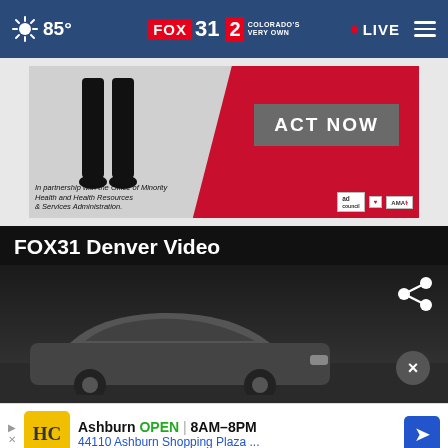85° FOX31 2 COLORADO'S VERY OWN LIVE
[Figure (screenshot): Advertisement banner with red background showing 'ACT NOW' button and text: In partnership with the Office of Minority Health and Health Resources & Services Administration. Logos for ad council, American Heart Association, and AMA.]
FOX31 Denver Video
[Figure (screenshot): Dark video thumbnail showing a car in a parking lot at night with a share icon in top right and close (x) button]
[Figure (screenshot): Bottom advertisement: HC logo, Ashburn OPEN 8AM-8PM, 44110 Ashburn Shopping Plaza ...]